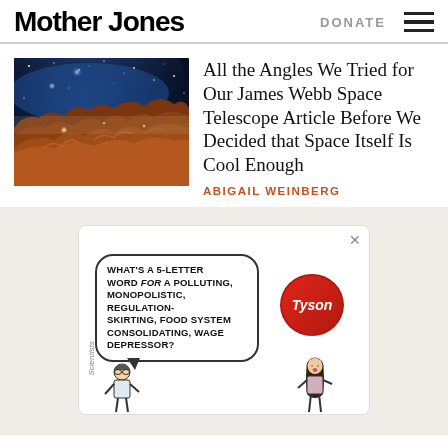Mother Jones
All the Angles We Tried for Our James Webb Space Telescope Article Before We Decided that Space Itself Is Cool Enough
ABIGAIL WEINBERG
[Figure (illustration): Advertisement cartoon: speech bubble reading 'WHAT'S A 5-LETTER WORD for A POLLUTING, MONOPOLISTIC, REGULATION-SKIRTING, FOOD SYSTEM CONSOLIDATING, WAGE DEPRESSOR?' with a Tyson logo badge and cartoon characters]
[Figure (photo): James Webb Space Telescope image of the Carina Nebula showing star-forming region with orange rocky cliff-like formations in the foreground and blue starry universe in the background]